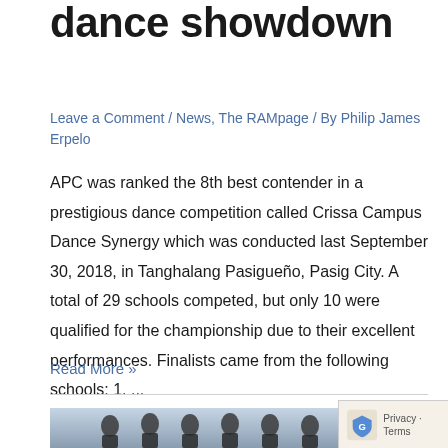dance showdown
Leave a Comment / News, The RAMpage / By Philip James Erpelo
APC was ranked the 8th best contender in a prestigious dance competition called Crissa Campus Dance Synergy which was conducted last September 30, 2018, in Tanghalang Pasigueño, Pasig City. A total of 29 schools competed, but only 10 were qualified for the championship due to their excellent performances. Finalists came from the following schools: 1. ...
Read More »
[Figure (photo): Group photo of students at an event, partially visible at bottom of page]